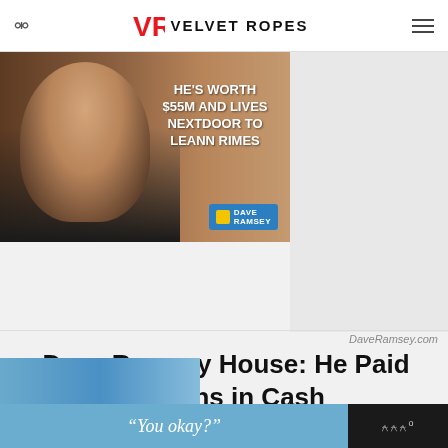VELVET ROPES
[Figure (photo): Advertisement photo of Dave Ramsey (bald man with glasses) against a brick wall background with text: HE'S WORTH $55M AND LIVES NEXTDOOR TO LEANN RIMES, with Dave Ramsey logo badge]
DaveRamsey.com
Dave Ramsey House: He Paid Millions in Cash for his Franklin TN Home
[Figure (photo): Partially visible thumbnail image at bottom of page]
[Figure (screenshot): Bottom advertisement bar with text: "You okay?" on blue background, with dark panel on right showing audio/wave icon]